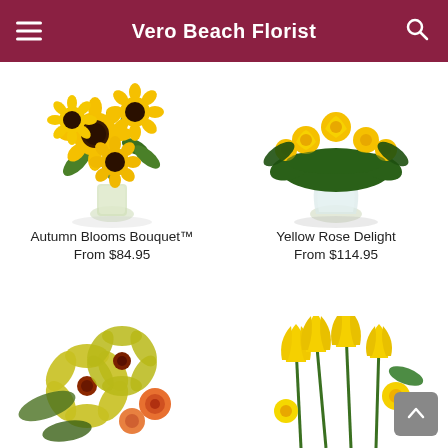Vero Beach Florist
[Figure (photo): Autumn Blooms Bouquet with sunflowers in a glass vase]
[Figure (photo): Yellow Rose Delight arrangement with yellow roses in a glass vase]
Autumn Blooms Bouquet™
From $84.95
Yellow Rose Delight
From $114.95
[Figure (photo): Yellow cymbidium orchids and orange roses arrangement]
[Figure (photo): Yellow tulips and daisies flower arrangement]